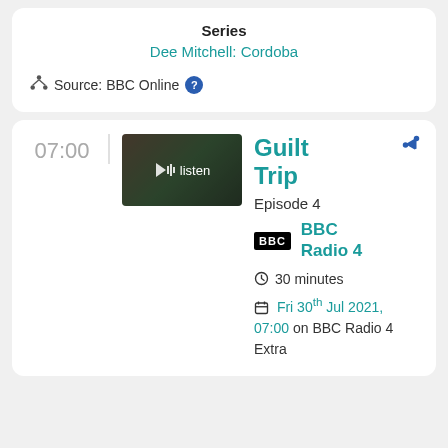Series
Dee Mitchell: Cordoba
Source: BBC Online
07:00
[Figure (screenshot): Thumbnail image showing a forest/outdoor scene with a listen button overlay]
Guilt Trip
Episode 4
[Figure (logo): BBC logo black square with white text]
BBC Radio 4
30 minutes
Fri 30th Jul 2021, 07:00 on BBC Radio 4 Extra